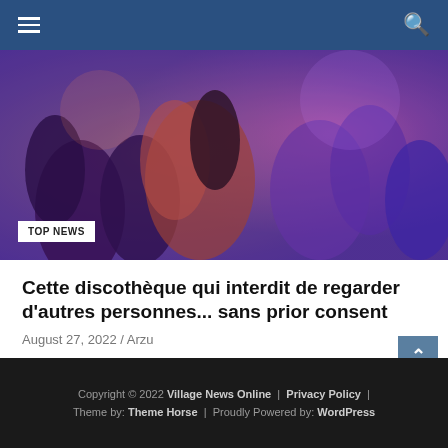Navigation bar with hamburger menu and search icon
[Figure (photo): People dancing in a nightclub/disco with purple and orange lighting, crowded dance floor scene]
TOP NEWS
Cette discothèque qui interdit de regarder d'autres personnes... sans prior consent
August 27, 2022 / Arzu
Copyright © 2022 Village News Online | Privacy Policy | Theme by: Theme Horse | Proudly Powered by: WordPress